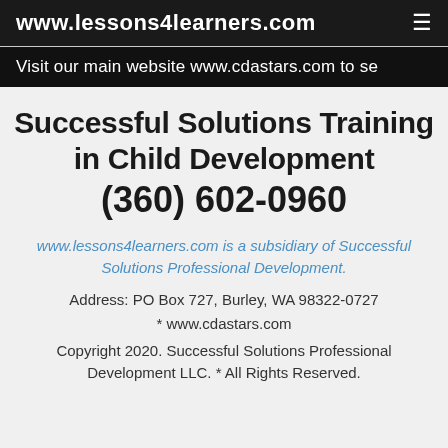www.lessons4learners.com
Visit our main website www.cdastars.com to se
Successful Solutions Training in Child Development (360) 602-0960
www.lessons4learners.com is a subsidiary of Successful Solutions Professional Development.
Address: PO Box 727, Burley, WA 98322-0727
* www.cdastars.com
Copyright 2020.  Successful Solutions Professional Development LLC.  * All Rights Reserved.